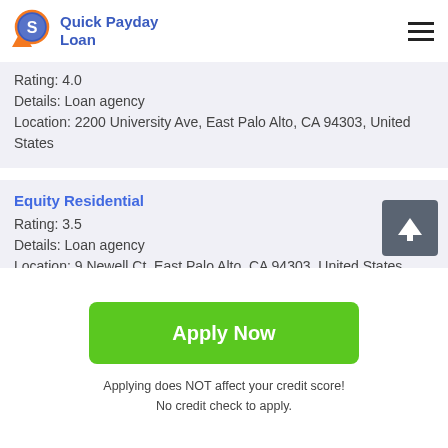Quick Payday Loan
Rating: 4.0
Details: Loan agency
Location: 2200 University Ave, East Palo Alto, CA 94303, United States
Equity Residential
Rating: 3.5
Details: Loan agency
Location: 9 Newell Ct, East Palo Alto, CA 94303, United States
Hi Palo Alto Auto Car Title L...
Apply Now
Applying does NOT affect your credit score!
No credit check to apply.